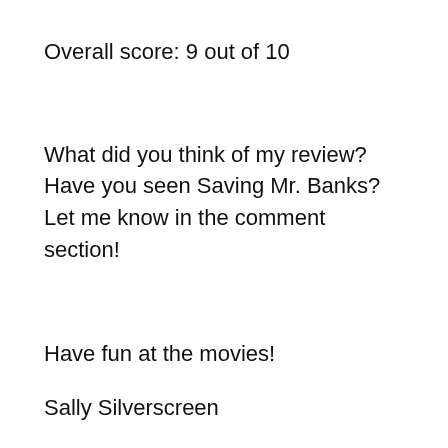Overall score: 9 out of 10
What did you think of my review? Have you seen Saving Mr. Banks? Let me know in the comment section!
Have fun at the movies!
Sally Silverscreen